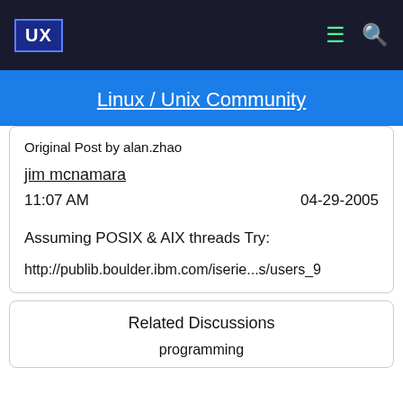UX | Linux / Unix Community
Original Post by alan.zhao
jim mcnamara
11:07 AM	04-29-2005
Assuming POSIX & AIX threads Try:
http://publib.boulder.ibm.com/iserie...s/users_9
Related Discussions
programming